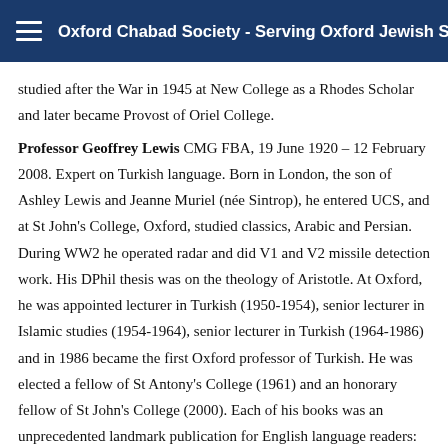Oxford Chabad Society - Serving Oxford Jewish Students
studied after the War in 1945 at New College as a Rhodes Scholar and later became Provost of Oriel College.
Professor Geoffrey Lewis CMG FBA, 19 June 1920 – 12 February 2008. Expert on Turkish language. Born in London, the son of Ashley Lewis and Jeanne Muriel (née Sintrop), he entered UCS, and at St John's College, Oxford, studied classics, Arabic and Persian. During WW2 he operated radar and did V1 and V2 missile detection work. His DPhil thesis was on the theology of Aristotle. At Oxford, he was appointed lecturer in Turkish (1950-1954), senior lecturer in Islamic studies (1954-1964), senior lecturer in Turkish (1964-1986) and in 1986 became the first Oxford professor of Turkish. He was elected a fellow of St Antony's College (1961) and an honorary fellow of St John's College (2000). Each of his books was an unprecedented landmark publication for English language readers: Teach Yourself Turkish (1953), Turkey (1955), Turkish Grammar (1967) and The Turkish Language Reform: A Catastrophic Success (1999). He also wrote extensively on Turkish history and politics. The Atatürk I knew appeared in 1981. A frequent visitor to Turkey, he taught 'Turkic' languages from the eighth century Orkhon